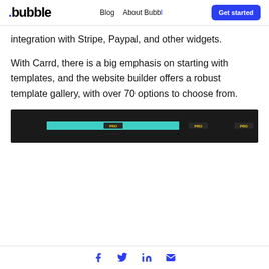.bubble  Blog  About Bubb  Get started
integration with Stripe, Paypal, and other widgets.
With Carrd, there is a big emphasis on starting with templates, and the website builder offers a robust template gallery, with over 70 options to choose from.
[Figure (screenshot): Dark-themed website builder template gallery screenshot showing a teal/cyan highlighted bar and PRO badges]
Social icons: Facebook, Twitter, LinkedIn, Email